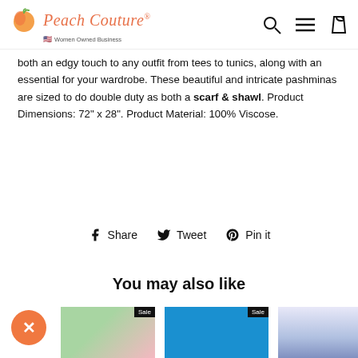Peach Couture — Women Owned Business
both an edgy touch to any outfit from tees to tunics, along with an essential for your wardrobe. These beautiful and intricate pashminas are sized to do double duty as both a scarf & shawl. Product Dimensions: 72" x 28". Product Material: 100% Viscose.
Share   Tweet   Pin it
You may also like
[Figure (screenshot): Product thumbnails showing sale items below 'You may also like' section, with orange close button and Sale badges]